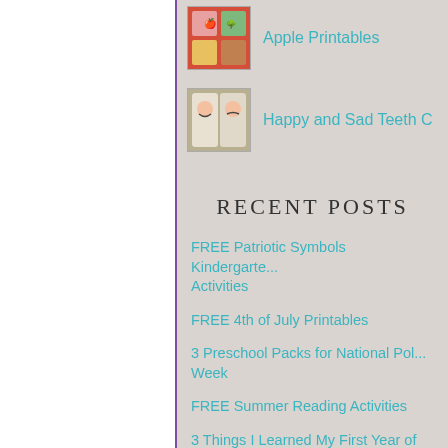[Figure (photo): Thumbnail image for Apple Printables post]
Apple Printables
[Figure (photo): Thumbnail image for Happy and Sad Teeth post]
Happy and Sad Teeth C
RECENT POSTS
FREE Patriotic Symbols Kindergarte... Activities
FREE 4th of July Printables
3 Preschool Packs for National Pol... Week
FREE Summer Reading Activities
3 Things I Learned My First Year of